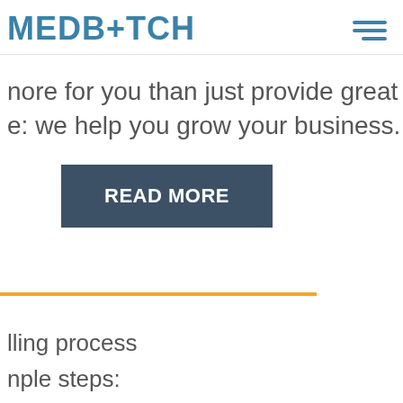MEDBATCH
more for you than just provide great e: we help you grow your business.
READ MORE
[Figure (other): Orange horizontal divider line]
lling process
nple steps:
dBatch, we
nimizing